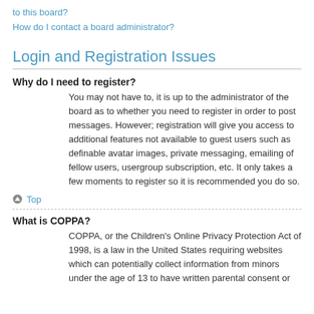to this board?
How do I contact a board administrator?
Login and Registration Issues
Why do I need to register?
You may not have to, it is up to the administrator of the board as to whether you need to register in order to post messages. However; registration will give you access to additional features not available to guest users such as definable avatar images, private messaging, emailing of fellow users, usergroup subscription, etc. It only takes a few moments to register so it is recommended you do so.
Top
What is COPPA?
COPPA, or the Children's Online Privacy Protection Act of 1998, is a law in the United States requiring websites which can potentially collect information from minors under the age of 13 to have written parental consent or